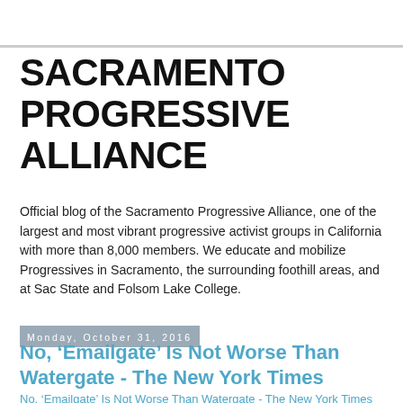SACRAMENTO PROGRESSIVE ALLIANCE
Official blog of the Sacramento Progressive Alliance, one of the largest and most vibrant progressive activist groups in California with more than 8,000 members. We educate and mobilize Progressives in Sacramento, the surrounding foothill areas, and at Sac State and Folsom Lake College.
Monday, October 31, 2016
No, ‘Emailgate’ Is Not Worse Than Watergate - The New York Times
No, ‘Emailgate’ Is Not Worse Than Watergate - The New York Times